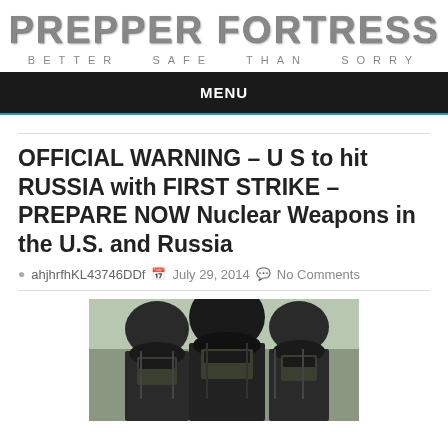[Figure (logo): Prepper Fortress logo with military-style metallic text and tagline BETTER SAFE THAN SORRY]
MENU
OFFICIAL WARNING – U S to hit RUSSIA with FIRST STRIKE – PREPARE NOW Nuclear Weapons in the U.S. and Russia
ahjhrfhKL43746DDf  July 29, 2014  No Comments
[Figure (photo): Soldiers in black tactical gear and helmets with face masks]